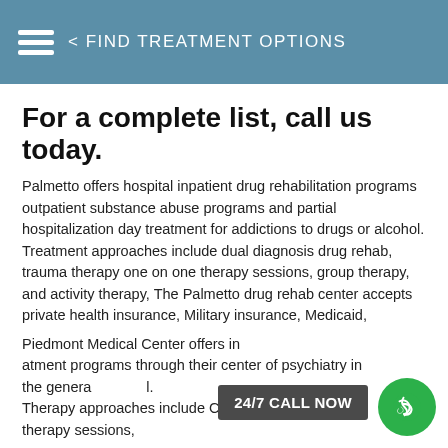< FIND TREATMENT OPTIONS
For a complete list, call us today.
Palmetto offers hospital inpatient drug rehabilitation programs outpatient substance abuse programs and partial hospitalization day treatment for addictions to drugs or alcohol. Treatment approaches include dual diagnosis drug rehab, trauma therapy one on one therapy sessions, group therapy, and activity therapy, The Palmetto drug rehab center accepts private health insurance, Military insurance, Medicaid, Medicare, and cash or self payments. Palmetto Lowcountry Behavioral Health
2777 Speissegger Drive
North Charleston, SC 29405
843-747-5830
Piedmont Medical Center offers inpatient treatment programs through their center of psychiatry in the general hospital. Therapy approaches include CBT, one on one therapy sessions,